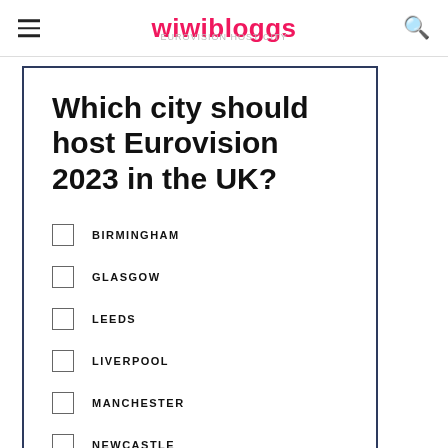wiwibloggs
EUROVISION HOST CITY
Which city should host Eurovision 2023 in the UK?
BIRMINGHAM
GLASGOW
LEEDS
LIVERPOOL
MANCHESTER
NEWCASTLE